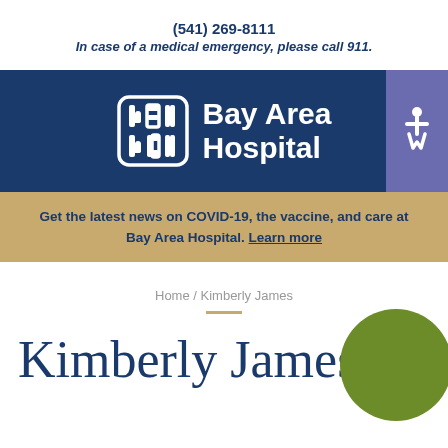(541) 269-8111
In case of a medical emergency, please call 911.
[Figure (logo): Bay Area Hospital logo with stylized 'bah' icon and text 'Bay Area Hospital' on dark navy background, with accessibility icon in purple box at right]
Get the latest news on COVID-19, the vaccine, and care at Bay Area Hospital. Learn more
Home / Kimberly James
Kimberly James